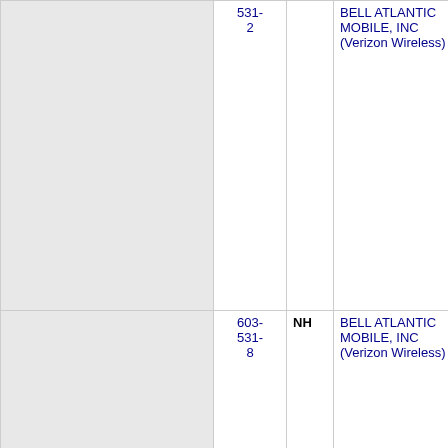|  | Number | State | Carrier | Code | City |
| --- | --- | --- | --- | --- | --- |
|  | 603-531-2 |  | BELL ATLANTIC MOBILE, INC (Verizon Wireless) |  |  |
|  | 603-531-8 | NH | BELL ATLANTIC MOBILE, INC (Verizon Wireless) | 6386 | PORTSMO... |